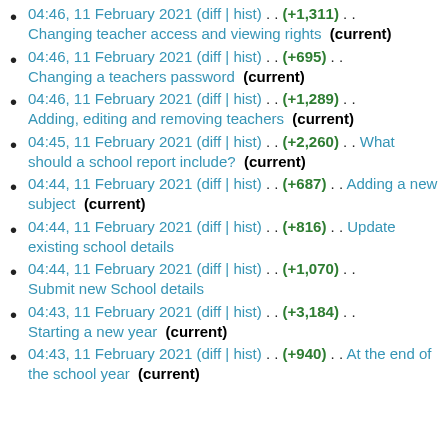04:46, 11 February 2021 (diff | hist) . . (+1,311) . . Changing teacher access and viewing rights (current)
04:46, 11 February 2021 (diff | hist) . . (+695) . . Changing a teachers password (current)
04:46, 11 February 2021 (diff | hist) . . (+1,289) . . Adding, editing and removing teachers (current)
04:45, 11 February 2021 (diff | hist) . . (+2,260) . . What should a school report include? (current)
04:44, 11 February 2021 (diff | hist) . . (+687) . . Adding a new subject (current)
04:44, 11 February 2021 (diff | hist) . . (+816) . . Update existing school details
04:44, 11 February 2021 (diff | hist) . . (+1,070) . . Submit new School details
04:43, 11 February 2021 (diff | hist) . . (+3,184) . . Starting a new year (current)
04:43, 11 February 2021 (diff | hist) . . (+940) . . At the end of the school year (current)